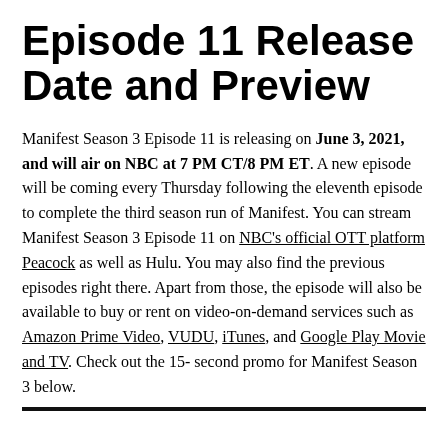Episode 11 Release Date and Preview
Manifest Season 3 Episode 11 is releasing on June 3, 2021, and will air on NBC at 7 PM CT/8 PM ET. A new episode will be coming every Thursday following the eleventh episode to complete the third season run of Manifest. You can stream Manifest Season 3 Episode 11 on NBC's official OTT platform Peacock as well as Hulu. You may also find the previous episodes right there. Apart from those, the episode will also be available to buy or rent on video-on-demand services such as Amazon Prime Video, VUDU, iTunes, and Google Play Movie and TV. Check out the 15- second promo for Manifest Season 3 below.